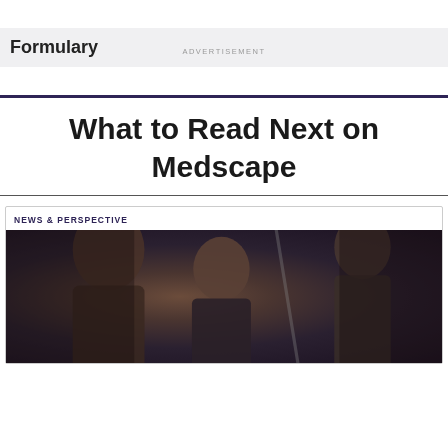ADVERTISEMENT
Formulary
What to Read Next on Medscape
NEWS & PERSPECTIVE
[Figure (photo): Dark-toned photo showing two people, one in foreground with head bowed, in a dim clinical or indoor setting]